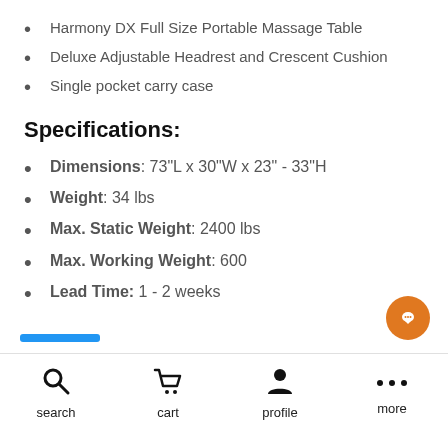Harmony DX Full Size Portable Massage Table
Deluxe Adjustable Headrest and Crescent Cushion
Single pocket carry case
Specifications:
Dimensions: 73"L x 30"W x 23" - 33"H
Weight: 34 lbs
Max. Static Weight: 2400 lbs
Max. Working Weight: 600
Lead Time: 1 - 2 weeks